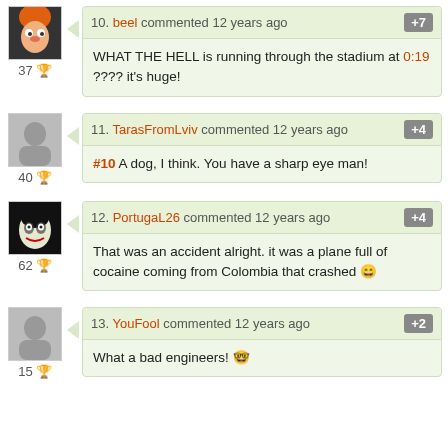10. beel commented 12 years ago +7
WHAT THE HELL is running through the stadium at 0:19 ???? it's huge!
11. TarasFromLviv commented 12 years ago +4
#10 A dog, I think. You have a sharp eye man!
12. PortugaL26 commented 12 years ago +4
That was an accident alright. it was a plane full of cocaine coming from Colombia that crashed 😄
13. YouFool commented 12 years ago +2
What a bad engineers! 🤓